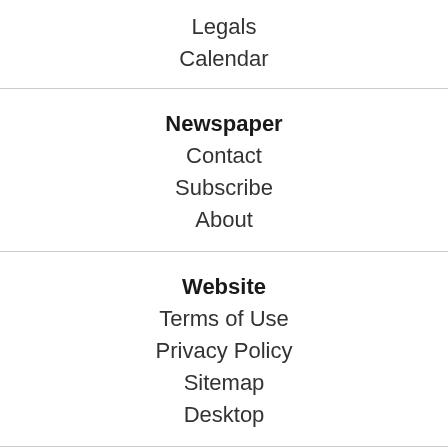Legals
Calendar
Newspaper
Contact
Subscribe
About
Website
Terms of Use
Privacy Policy
Sitemap
Desktop
Adverti…